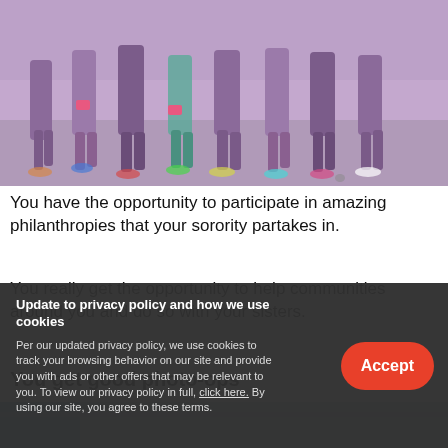[Figure (photo): Group of women in purple t-shirts and athletic wear standing outdoors on pavement, photo taken from mid-body down showing their legs and shoes.]
You have the opportunity to participate in amazing philanthropies that your sorority partakes in.
You really get the opportunity to help communities around you and do so with your sisters.
You get good photo-ops
[Figure (photo): Partial view of another photo at the bottom of the page, mostly obscured by the cookie consent banner.]
Update to privacy policy and how we use cookies
Per our updated privacy policy, we use cookies to track your browsing behavior on our site and provide you with ads or other offers that may be relevant to you. To view our privacy policy in full, click here. By using our site, you agree to these terms.